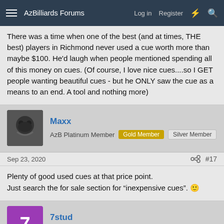AzBilliards Forums | Log in | Register
There was a time when one of the best (and at times, THE best) players in Richmond never used a cue worth more than maybe $100. He'd laugh when people mentioned spending all of this money on cues. (Of course, I love nice cues....so I GET people wanting beautiful cues - but he ONLY saw the cue as a means to an end. A tool and nothing more)
Maxx
AzB Platinum Member | Gold Member | Silver Member
Sep 23, 2020 | #17
Plenty of good used cues at that price point.
Just search the for sale section for “inexpensive cues”. 🙂
7stud
AzB Silver Member | Silver Member